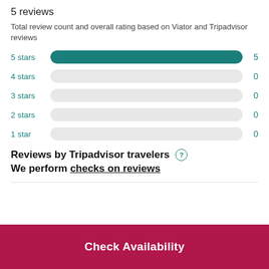5 reviews
Total review count and overall rating based on Viator and Tripadvisor reviews
[Figure (bar-chart): Star rating distribution]
Reviews by Tripadvisor travelers
We perform checks on reviews
Check Availability